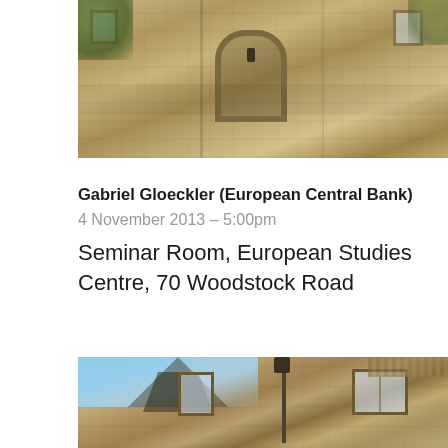[Figure (photo): Photograph of a stone building (European Studies Centre, Oxford) showing Gothic arched entrance, lantern, and windows — top portion of building]
Gabriel Gloeckler (European Central Bank)
4 November 2013 – 5:00pm
Seminar Room, European Studies Centre, 70 Woodstock Road
[Figure (photo): Photograph of a stone building (European Studies Centre, Oxford) showing gabled roofline, tower, windows, and blue sky — lower portion of building]